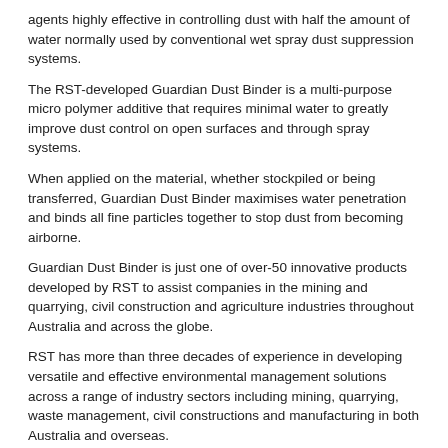agents highly effective in controlling dust with half the amount of water normally used by conventional wet spray dust suppression systems.
The RST-developed Guardian Dust Binder is a multi-purpose micro polymer additive that requires minimal water to greatly improve dust control on open surfaces and through spray systems.
When applied on the material, whether stockpiled or being transferred, Guardian Dust Binder maximises water penetration and binds all fine particles together to stop dust from becoming airborne.
Guardian Dust Binder is just one of over-50 innovative products developed by RST to assist companies in the mining and quarrying, civil construction and agriculture industries throughout Australia and across the globe.
RST has more than three decades of experience in developing versatile and effective environmental management solutions across a range of industry sectors including mining, quarrying, waste management, civil constructions and manufacturing in both Australia and overseas.
RST is an Australian business operating internationally, with projects currently in the United States of America, China, New Zealand, New Caledonia, Mongolia, Papua New Guinea, Indonesia, the Philippines, Malaysia, India, Colombia, Chile, Croatia, Argentina, Peru, Brazil, Mexico, Lithuania and the United Arab
For more information, contact Reynolds Soil Technologies on (07) 5522 0244 or